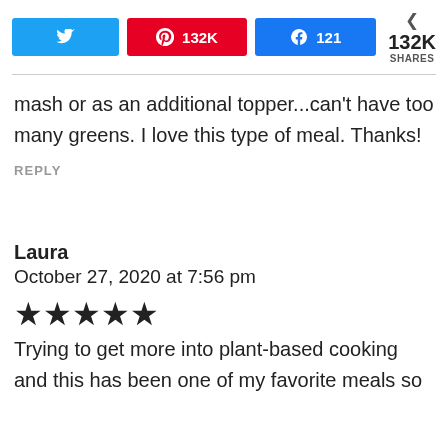[Figure (screenshot): Social share bar with Twitter, Pinterest (132K), Facebook (121) buttons and 132K SHARES count]
mash or as an additional topper...can't have too many greens. I love this type of meal. Thanks!
REPLY
Laura
October 27, 2020 at 7:56 pm
[Figure (other): Five star rating (5 stars)]
Trying to get more into plant-based cooking and this has been one of my favorite meals so